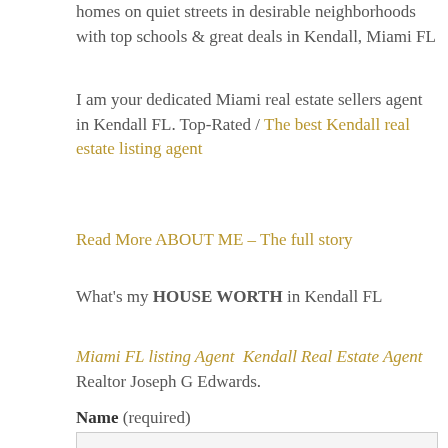homes on quiet streets in desirable neighborhoods with top schools & great deals in Kendall, Miami FL
I am your dedicated Miami real estate sellers agent in Kendall FL. Top-Rated / The best Kendall real estate listing agent
Read More ABOUT ME – The full story
What's my HOUSE WORTH in Kendall FL
Miami FL listing Agent  Kendall Real Estate Agent Realtor Joseph G Edwards.
Name (required)